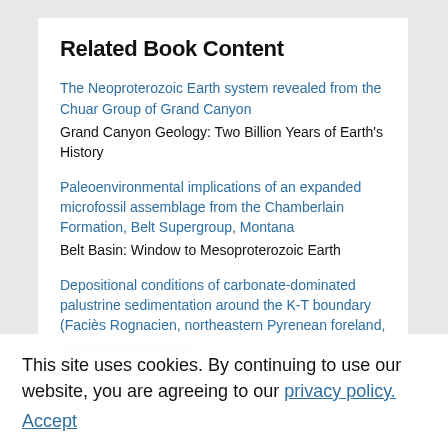Related Book Content
The Neoproterozoic Earth system revealed from the Chuar Group of Grand Canyon
Grand Canyon Geology: Two Billion Years of Earth's History
Paleoenvironmental implications of an expanded microfossil assemblage from the Chamberlain Formation, Belt Supergroup, Montana
Belt Basin: Window to Mesoproterozoic Earth
Depositional conditions of carbonate-dominated palustrine sedimentation around the K-T boundary (Faciès Rognacien, northeastern Pyrenean foreland, southwestern France)
Paleoenvironmental Record and Applications of Carbonates...
Permian climatic cooling in the Canadian Arctic
This site uses cookies. By continuing to use our website, you are agreeing to our privacy policy.
Accept